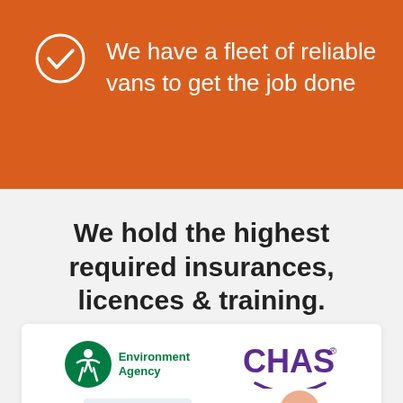We have a fleet of reliable vans to get the job done
We hold the highest required insurances, licences & training.
[Figure (logo): Environment Agency logo (green circular figure icon) and CHAS logo (purple bold text with smile arc), and two partial logos at the bottom of a white card]